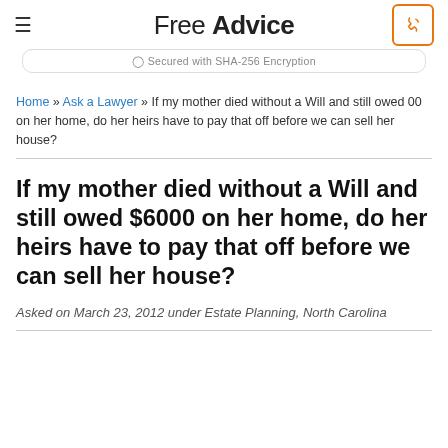Free Advice
Secured with SHA-256 Encryption
Home » Ask a Lawyer » If my mother died without a Will and still owed 00 on her home, do her heirs have to pay that off before we can sell her house?
If my mother died without a Will and still owed $6000 on her home, do her heirs have to pay that off before we can sell her house?
Asked on March 23, 2012 under Estate Planning, North Carolina